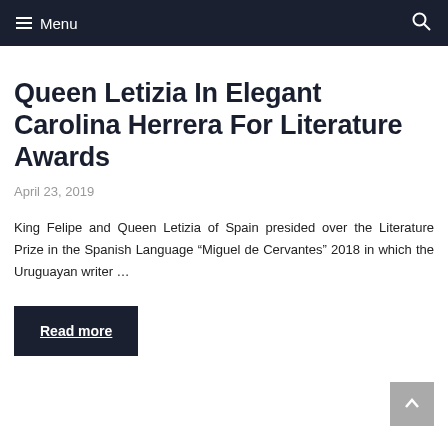Menu
Queen Letizia In Elegant Carolina Herrera For Literature Awards
April 23, 2019
King Felipe and Queen Letizia of Spain presided over the Literature Prize in the Spanish Language “Miguel de Cervantes” 2018 in which the Uruguayan writer …
Read more